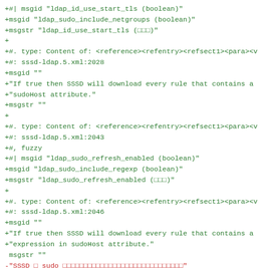+#| msgid "ldap_id_use_start_tls (boolean)"
+msgid "ldap_sudo_include_netgroups (boolean)"
+msgstr "ldap_id_use_start_tls (□□□)"
+
+#. type: Content of: <reference><refentry><refsect1><para><v
+#: sssd-ldap.5.xml:2028
+msgid ""
+"If true then SSSD will download every rule that contains a
+"sudoHost attribute."
+msgstr ""
+
+#. type: Content of: <reference><refentry><refsect1><para><v
+#: sssd-ldap.5.xml:2043
+#, fuzzy
+#| msgid "ldap_sudo_refresh_enabled (boolean)"
+msgid "ldap_sudo_include_regexp (boolean)"
+msgstr "ldap_sudo_refresh_enabled (□□□)"
+
+#. type: Content of: <reference><refentry><refsect1><para><v
+#: sssd-ldap.5.xml:2046
+msgid ""
+"If true then SSSD will download every rule that contains a
+"expression in sudoHost attribute."
 msgstr ""
-"SSSD □ sudo □□□□□□□□□□□□□□□□□□□□□□□□□□□□□"